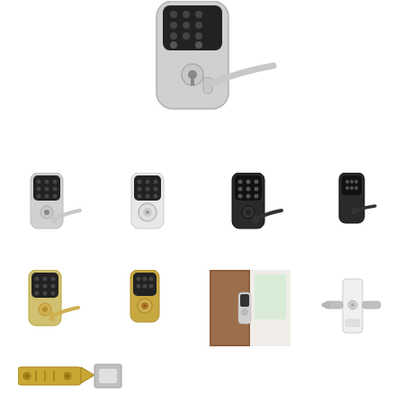[Figure (photo): Large silver/chrome electronic door lock with keypad and lever handle, shown from front, top portion visible]
[Figure (photo): Small black keypad electronic lock with silver lever handle]
[Figure (photo): Small black keypad electronic lock with white/chrome round knob]
[Figure (photo): Small black keypad electronic lock with black lever handle]
[Figure (photo): Small black keypad electronic lock with smaller black lever handle]
[Figure (photo): Small black keypad electronic lock with gold/brass lever handle]
[Figure (photo): Small black keypad electronic lock with gold/brass lever handle, slightly different angle]
[Figure (photo): Photo of electronic keypad lock installed on a wood door in a room]
[Figure (photo): Side view of electronic lock mechanism in white/silver finish]
[Figure (photo): Latch bolt hardware component, gold/brass colored]